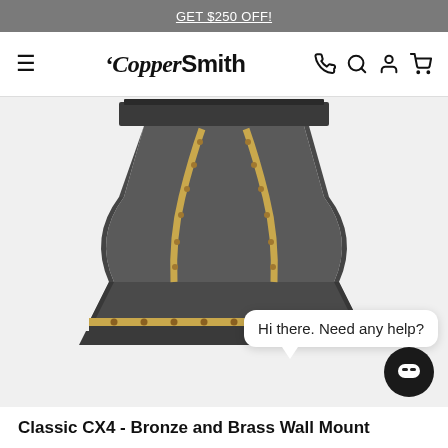GET $250 OFF!
[Figure (logo): CopperSmith brand logo with hamburger menu and icons for phone, search, account, cart]
[Figure (photo): Classic CX4 Bronze and Brass Wall Mount range hood in dark gray/bronze finish with brass stripe accents and brass rivets, featuring a decorative chat bubble overlay saying 'Hi there. Need any help?' and a dark circular chat button]
Classic CX4 - Bronze and Brass Wall Mount